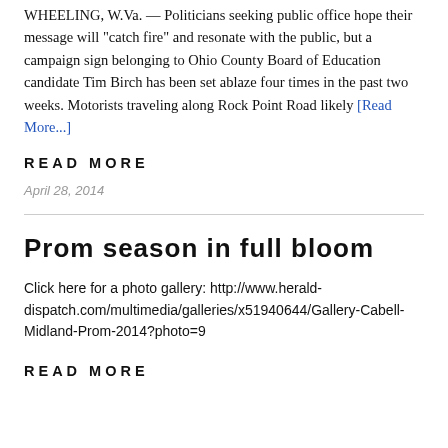WHEELING, W.Va. — Politicians seeking public office hope their message will "catch fire" and resonate with the public, but a campaign sign belonging to Ohio County Board of Education candidate Tim Birch has been set ablaze four times in the past two weeks. Motorists traveling along Rock Point Road likely [Read More...]
Read More
April 28, 2014
Prom season in full bloom
Click here for a photo gallery: http://www.herald-dispatch.com/multimedia/galleries/x51940644/Gallery-Cabell-Midland-Prom-2014?photo=9
Read More